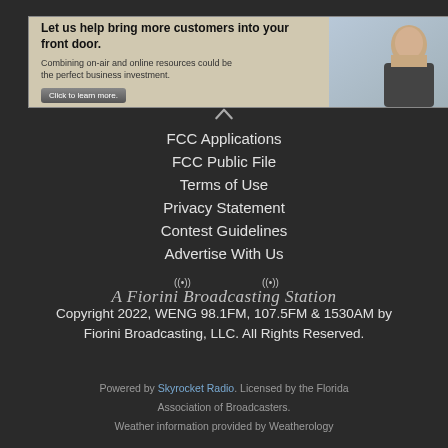[Figure (photo): Advertisement banner: 'Let us help bring more customers into your front door. Combining on-air and online resources could be the perfect business investment. Click to learn more.' with photo of a man.]
FCC Applications
FCC Public File
Terms of Use
Privacy Statement
Contest Guidelines
Advertise With Us
[Figure (logo): A Fiorini Broadcasting Station logo with antenna icons]
Copyright 2022, WENG 98.1FM, 107.5FM & 1530AM by Fiorini Broadcasting, LLC. All Rights Reserved.
Powered by Skyrocket Radio. Licensed by the Florida Association of Broadcasters. Weather information provided by Weatherology